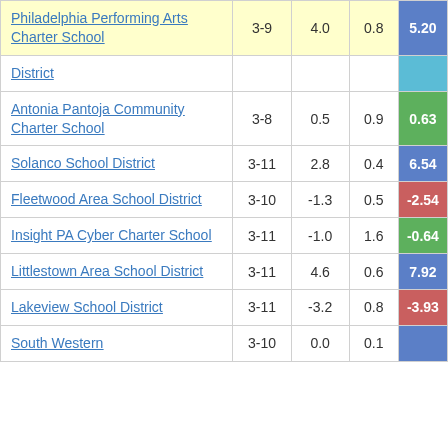| School/District | Grades | Col3 | Col4 | Score |
| --- | --- | --- | --- | --- |
| Philadelphia Performing Arts Charter School | 3-9 | 4.0 | 0.8 | 5.20 |
| District (partial) |  |  |  |  |
| Antonia Pantoja Community Charter School | 3-8 | 0.5 | 0.9 | 0.63 |
| Solanco School District | 3-11 | 2.8 | 0.4 | 6.54 |
| Fleetwood Area School District | 3-10 | -1.3 | 0.5 | -2.54 |
| Insight PA Cyber Charter School | 3-11 | -1.0 | 1.6 | -0.64 |
| Littlestown Area School District | 3-11 | 4.6 | 0.6 | 7.92 |
| Lakeview School District | 3-11 | -3.2 | 0.8 | -3.93 |
| South Western (partial) | 3-10 | 0.0 | 0.1 |  |